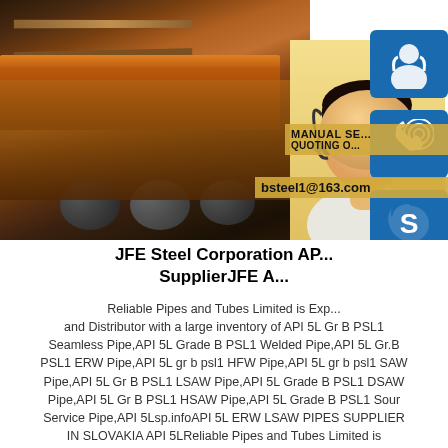[Figure (photo): Composite image: steel mill/factory on the left showing orange hot steel and industrial machinery; customer service woman with headset on right against yellow background; three blue icon boxes on far right showing headset/person icon, phone icon, and Skype icon; overlay text panel showing 'MANUAL SE...' and 'QUOTING O...' and email 'bsteel1@163.com']
JFE Steel Corporation AP... SupplierJFE A...
Reliable Pipes and Tubes Limited is Exp... and Distributor with a large inventory of API 5L Gr B PSL1 Seamless Pipe,API 5L Grade B PSL1 Welded Pipe,API 5L Gr.B PSL1 ERW Pipe,API 5L gr b psl1 HFW Pipe,API 5L gr b psl1 SAW Pipe,API 5L Gr B PSL1 LSAW Pipe,API 5L Grade B PSL1 DSAW Pipe,API 5L Gr B PSL1 HSAW Pipe,API 5L Grade B PSL1 Sour Service Pipe,API 5Lsp.infoAPI 5L ERW LSAW PIPES SUPPLIER IN SLOVAKIA API 5LReliable Pipes and Tubes Limited is